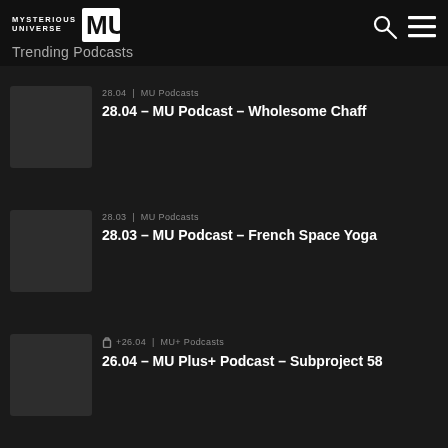Mysterious Universe | Trending Podcasts
28.04 | MU Podcasts
28.04 – MU Podcast – Wholesome Chaff
28.03 | MU Podcasts
28.03 – MU Podcast – French Space Yoga
+26.04 | MU+ Podcasts
26.04 – MU Plus+ Podcast – Subproject 58